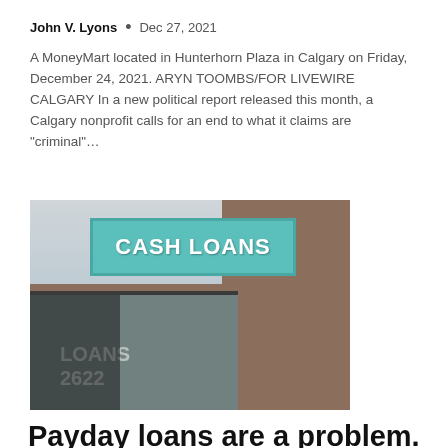John V. Lyons • Dec 27, 2021
A MoneyMart located in Hunterhorn Plaza in Calgary on Friday, December 24, 2021. ARYN TOOMBS/FOR LIVEWIRE CALGARY In a new political report released this month, a Calgary nonprofit calls for an end to what it claims are "criminal"…
[Figure (photo): Exterior of a cash loans store (MoneyMart) with a teal 'CASH LOANS' sign on a brick building in Calgary.]
Payday loans are a problem. Can a public bank be part of the solution?
John V. Lyons • Dec 5, 2021